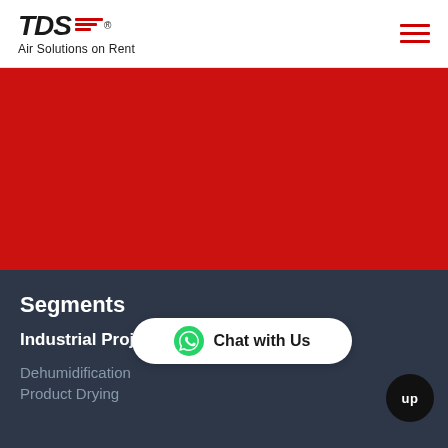[Figure (logo): TDS logo with red diagonal stripes and tagline 'Air Solutions on Rent']
[Figure (illustration): Red hero banner section (solid red background, no visible text)]
Segments
Industrial Project Solution
Dehumidification
Product Drying
[Figure (other): Chat with Us WhatsApp button (white pill-shaped button with green WhatsApp icon)]
[Figure (other): Up button - circular black button with 'up' text]